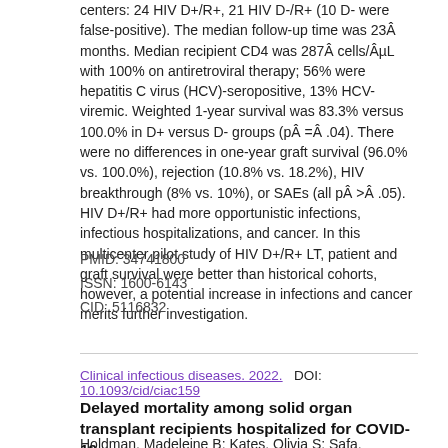centers: 24 HIV D+/R+, 21 HIV D-/R+ (10 D- were false-positive). The median follow-up time was 23Â months. Median recipient CD4 was 287Â cells/ÂµL with 100% on antiretroviral therapy; 56% were hepatitis C virus (HCV)-seropositive, 13% HCV-viremic. Weighted 1-year survival was 83.3% versus 100.0% in D+ versus D- groups (pÂ =Â .04). There were no differences in one-year graft survival (96.0% vs. 100.0%), rejection (10.8% vs. 18.2%), HIV breakthrough (8% vs. 10%), or SAEs (all pÂ >Â .05). HIV D+/R+ had more opportunistic infections, infectious hospitalizations, and cancer. In this multicenter pilot study of HIV D+/R+ LT, patient and graft survival were better than historical cohorts, however, a potential increase in infections and cancer merits further investigation.
PMID: 34741800
ISSN: 1600-6143
CID: 5116832
Clinical infectious diseases. 2022.   DOI: 10.1093/cid/ciac159
Delayed mortality among solid organ transplant recipients hospitalized for COVID-19
Holdman, Madeleine B; Kates, Olivia S; Safa, Kassem;